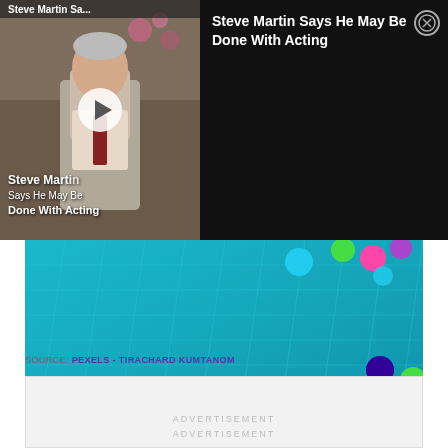[Figure (screenshot): Video thumbnail of Steve Martin with play button overlay, title 'Steve Martin Sa...' at top left, overlay text 'Steve Marti... Says He May Be Done With Acting']
Steve Martin Says He May Be Done With Acting
[Figure (photo): Photo of colorful balls (cyan, green, pink, purple, blue) floating in a swimming pool with blue tiled bottom]
SOURCE: PEXELS - TIRACHARD KUMTANOM
[Figure (other): Advertisement placeholder box with text 'ADVERTISEMENT' repeated twice]